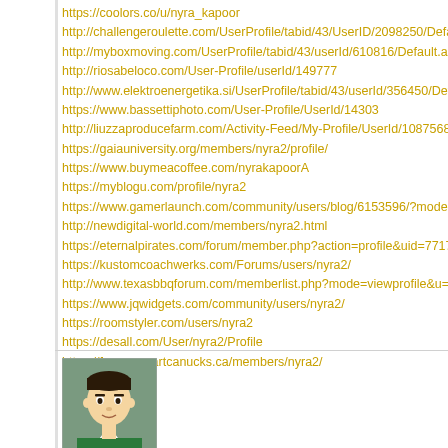https://coolors.co/u/nyra_kapoor
http://challengeroulette.com/UserProfile/tabid/43/UserID/2098250/Defau
http://myboxmoving.com/UserProfile/tabid/43/userId/610816/Default.asp
http://riosabeloco.com/User-Profile/userId/149777
http://www.elektroenergetika.si/UserProfile/tabid/43/userId/356450/Defa
https://www.bassettiphoto.com/User-Profile/UserId/14303
http://liuzzaproducefarm.com/Activity-Feed/My-Profile/UserId/1087568
https://gaiauniversity.org/members/nyra2/profile/
https://www.buymeacoffee.com/nyrakapoorA
https://myblogu.com/profile/nyra2
https://www.gamerlaunch.com/community/users/blog/6153596/?mode=v
http://newdigital-world.com/members/nyra2.html
https://eternalpirates.com/forum/member.php?action=profile&uid=7717
https://kustomcoachwerks.com/Forums/users/nyra2/
http://www.texasbbqforum.com/memberlist.php?mode=viewprofile&u=21
https://www.jqwidgets.com/community/users/nyra2/
https://roomstyler.com/users/nyra2
https://desall.com/User/nyra2/Profile
https://forum.smartcanucks.ca/members/nyra2/
[Figure (illustration): Avatar of user binod - cartoon face with dark hair and green shirt on grey-green background]
binod 2022-04-08 21:02:29
https://devnet.kentico.com/users/505841/joe-root
https://www.authorea.com/users/467853-joe-root
https://www.theoutbound.com/joe-root-2
http://www.lawrence.com/users/root084/